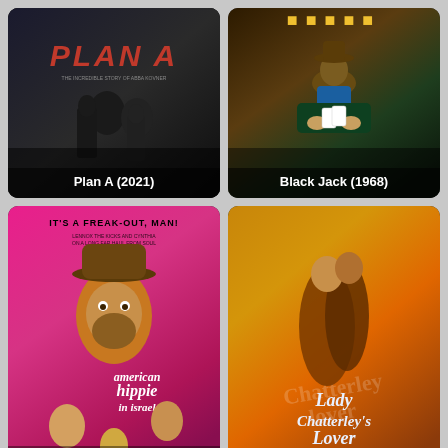[Figure (illustration): Movie poster for Plan A (2021) - dark thriller with red title text]
Plan A (2021)
[Figure (illustration): Movie poster for Black Jack (1968) - western, cowboy at card table]
Black Jack (1968)
[Figure (illustration): Movie poster for An American Hippie in Israel (1972) - pink/psychedelic poster with 'IT'S A FREAK-OUT, MAN!' text]
An American Hippie in Israel (1972)
[Figure (illustration): Movie poster for Lady Chatterley's Lover (1981) - warm orange tones with couple embracing]
Lady Chatterley's Lover (1981)
[Figure (photo): Partial movie poster at bottom left - dark tones]
[Figure (photo): Partial movie poster at bottom right - light tones]